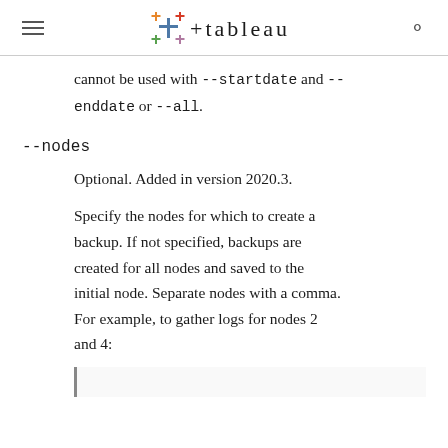Tableau logo navigation header
cannot be used with --startdate and --enddate or --all.
--nodes
Optional. Added in version 2020.3.
Specify the nodes for which to create a backup. If not specified, backups are created for all nodes and saved to the initial node. Separate nodes with a comma. For example, to gather logs for nodes 2 and 4: